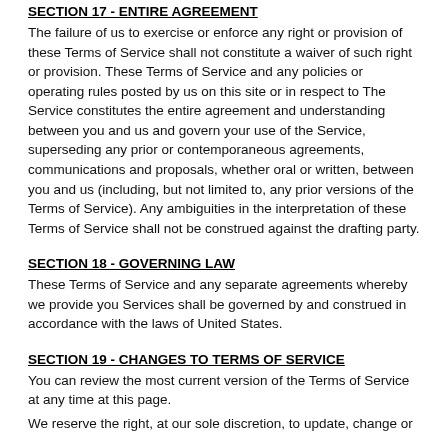SECTION 17 - ENTIRE AGREEMENT
The failure of us to exercise or enforce any right or provision of these Terms of Service shall not constitute a waiver of such right or provision. These Terms of Service and any policies or operating rules posted by us on this site or in respect to The Service constitutes the entire agreement and understanding between you and us and govern your use of the Service, superseding any prior or contemporaneous agreements, communications and proposals, whether oral or written, between you and us (including, but not limited to, any prior versions of the Terms of Service). Any ambiguities in the interpretation of these Terms of Service shall not be construed against the drafting party.
SECTION 18 - GOVERNING LAW
These Terms of Service and any separate agreements whereby we provide you Services shall be governed by and construed in accordance with the laws of United States.
SECTION 19 - CHANGES TO TERMS OF SERVICE
You can review the most current version of the Terms of Service at any time at this page.
We reserve the right, at our sole discretion, to update, change or